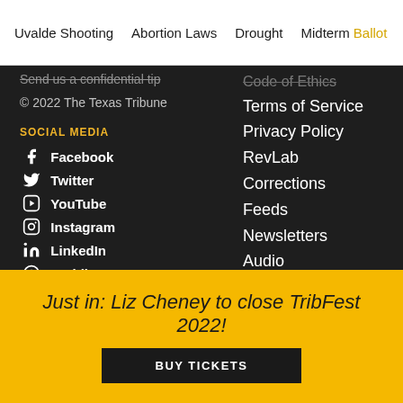Uvalde Shooting | Abortion Laws | Drought | Midterm Ballot
Send us a confidential tip
© 2022 The Texas Tribune
SOCIAL MEDIA
Facebook
Twitter
YouTube
Instagram
LinkedIn
Reddit
Code of Ethics
Terms of Service
Privacy Policy
RevLab
Corrections
Feeds
Newsletters
Audio
Video
Just in: Liz Cheney to close TribFest 2022!
BUY TICKETS